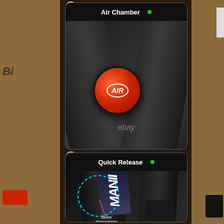[Figure (photo): Product detail photo showing Air Chamber cap on a bicycle fork. Red circular AIR cap on black matte fork tubes with ebay watermark.]
[Figure (photo): Product detail photo showing Quick Release feature on a bicycle fork. Black fork with MANII sticker (marked as Removeable) highlighted by dashed teal circle, with arrow pointing to sticker label.]